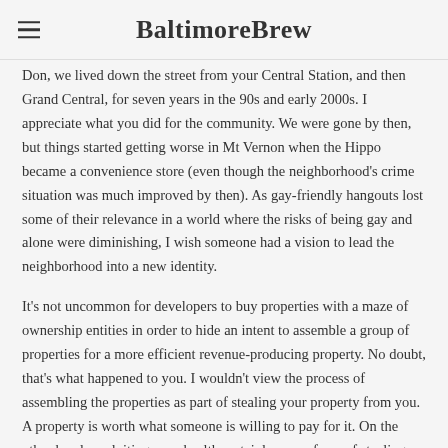BaltimoreBrew
Don, we lived down the street from your Central Station, and then Grand Central, for seven years in the 90s and early 2000s. I appreciate what you did for the community. We were gone by then, but things started getting worse in Mt Vernon when the Hippo became a convenience store (even though the neighborhood's crime situation was much improved by then). As gay-friendly hangouts lost some of their relevance in a world where the risks of being gay and alone were diminishing, I wish someone had a vision to lead the neighborhood into a new identity.
It's not uncommon for developers to buy properties with a maze of ownership entities in order to hide an intent to assemble a group of properties for a more efficient revenue-producing property. No doubt, that's what happened to you. I wouldn't view the process of assembling the properties as part of stealing your property from you. A property is worth what someone is willing to pay for it. On the other hand, exploiting your health certainly was a form of stealing.
Our little friend ranting about how the developer is being